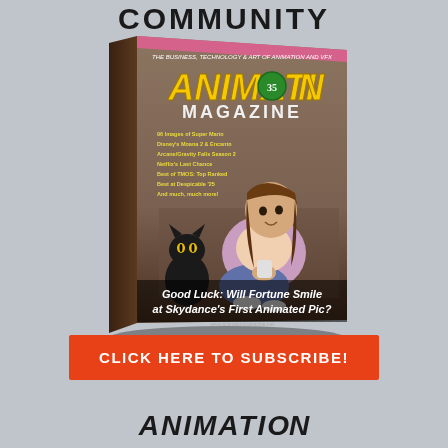COMMUNITY
[Figure (illustration): Animation Magazine cover featuring an animated girl sitting cross-legged with a black cat, text reading 'Good Luck: Will Fortune Smile at Skydance's First Animated Pic?' and the Animation Magazine logo with '35' badge. Small text listing various article topics visible on the left side of the cover.]
CLICK HERE TO SUBSCRIBE!
ANIMATION